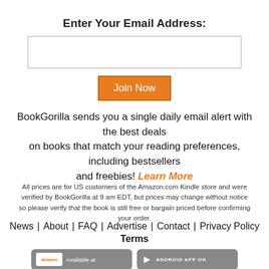Enter Your Email Address:
[email input field]
Join Now
BookGorilla sends you a single daily email alert with the best deals on books that match your reading preferences, including bestsellers and freebies! Learn More
All prices are for US customers of the Amazon.com Kindle store and were verified by BookGorilla at 9 am EDT, but prices may change without notice so please verify that the book is still free or bargain priced before confirming your order.
News  About  FAQ  Advertise  Contact  Privacy Policy  Terms
[Figure (logo): Amazon app badge: logo and 'Available at' text]
[Figure (logo): Android app badge: 'ANDROID APP ON' text]